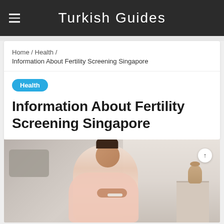Turkish Guides
Home / Health / Information About Fertility Screening Singapore
Health
Information About Fertility Screening Singapore
[Figure (photo): A smiling woman in a pink long-sleeve top looking at a pregnancy test, seated in a bedroom with a nightstand and decorative vase in the background.]